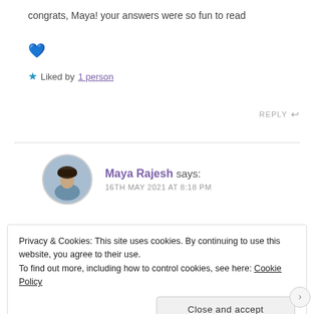congrats, Maya! your answers were so fun to read 💙
★ Liked by 1 person
REPLY ↩
Maya Rajesh says: 16TH MAY 2021 AT 8:18 PM
Privacy & Cookies: This site uses cookies. By continuing to use this website, you agree to their use. To find out more, including how to control cookies, see here: Cookie Policy
Close and accept